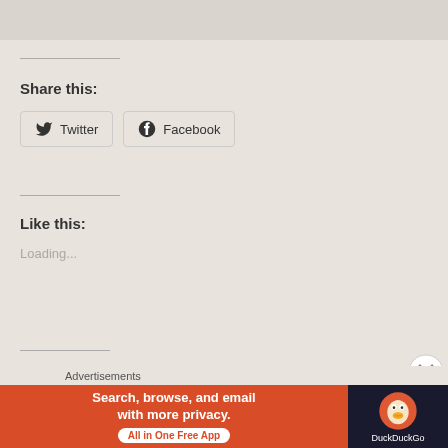[Figure (screenshot): Top portion of a webpage screenshot showing partial content above]
Share this:
[Figure (illustration): Twitter share button with Twitter bird icon]
[Figure (illustration): Facebook share button with Facebook 'f' logo icon]
Like this:
Loading...
Related
[Figure (screenshot): Related content thumbnail images at the bottom of the page]
Advertisements
[Figure (infographic): DuckDuckGo advertisement banner: Search, browse, and email with more privacy. All in One Free App]